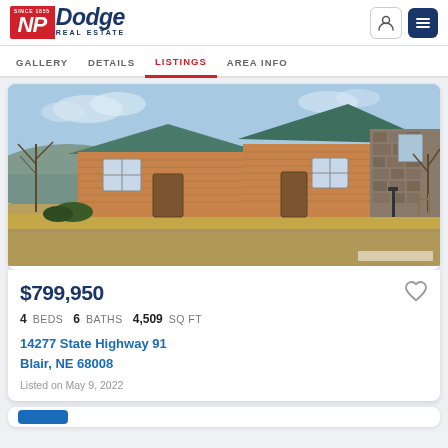[Figure (logo): NP Dodge Real Estate logo with red square and blue text]
GALLERY   DETAILS   LISTINGS   AREA INFO
[Figure (photo): Exterior photo of a large log/stone home at 14277 State Highway 91, Blair NE with gravel driveway and bare trees in background]
$799,950
4 BEDS   6 BATHS   4,509 SQ FT
14277 State Highway 91
Blair, NE 68008
Listed on May 9, 2022